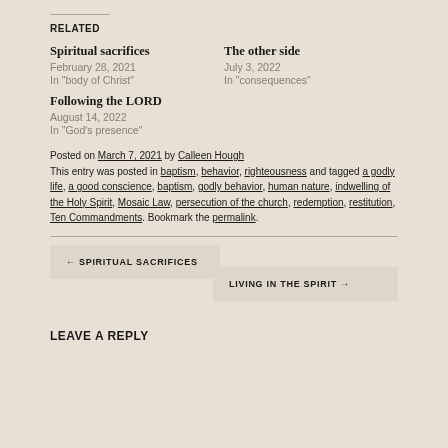RELATED
Spiritual sacrifices
February 28, 2021
In "body of Christ"
The other side
July 3, 2022
In "consequences"
Following the LORD
August 14, 2022
In "God's presence"
Posted on March 7, 2021 by Calleen Hough
This entry was posted in baptism, behavior, righteousness and tagged a godly life, a good conscience, baptism, godly behavior, human nature, indwelling of the Holy Spirit, Mosaic Law, persecution of the church, redemption, restitution, Ten Commandments. Bookmark the permalink.
← SPIRITUAL SACRIFICES
LIVING IN THE SPIRIT →
LEAVE A REPLY